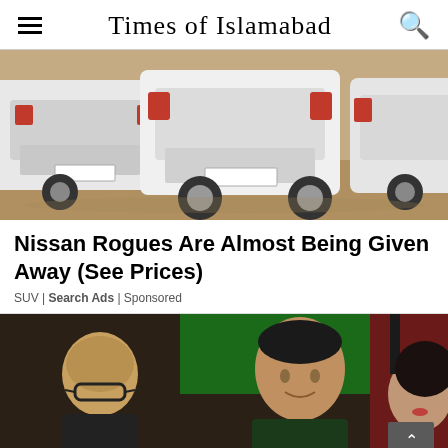Times of Islamabad
[Figure (photo): Rear view of multiple white Nissan Rogue SUVs parked in a sandy/dusty lot]
Nissan Rogues Are Almost Being Given Away (See Prices)
SUV | Search Ads | Sponsored
[Figure (photo): Photo of Imran Khan with other individuals at an event with green and dark red background, and a woman partially visible on the right]